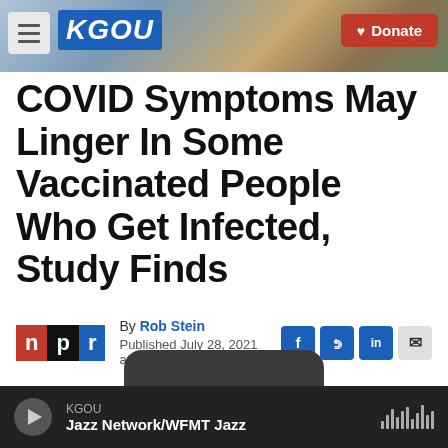[Figure (screenshot): KGOU radio station website header with logo and Donate button over a city background photo]
COVID Symptoms May Linger In Some Vaccinated People Who Get Infected, Study Finds
By Rob Stein
Published July 28, 2021 at 4:29 PM CDT
[Figure (logo): NPR logo with n in red, p in black, r in blue]
KGOU
Jazz Network/WFMT Jazz